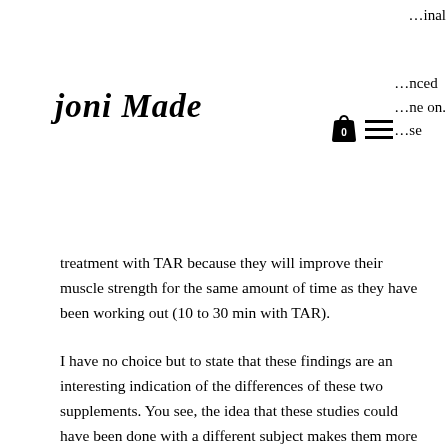joni Made — [logo] [bag icon] [hamburger menu] — ...anced ...one on. ...se ...final
treatment with TAR because they will improve their muscle strength for the same amount of time as they have been working out (10 to 30 min with TAR).
I have no choice but to state that these findings are an interesting indication of the differences of these two supplements. You see, the idea that these studies could have been done with a different subject makes them more interesting. As stated previously this difference is what the authors of the original TAR study had in mind. Since I also saw the above results, I also felt that the effects might be different than what they thought they would find, but I am sure of it,